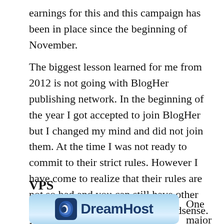earnings for this and this campaign has been in place since the beginning of November.
The biggest lesson learned for me from 2012 is not going with BlogHer publishing network. In the beginning of the year I got accepted to join BlogHer but I changed my mind and did not join them. At the time I was not ready to commit to their strict rules. However I have come to realize that their rules are not so bad and you can still have other ads on your website like google adsense. I have since re-applied and am now on a waiting list with BlogHer publishing network.
VPS
[Figure (logo): DreamHost logo on a blue sky background]
One major